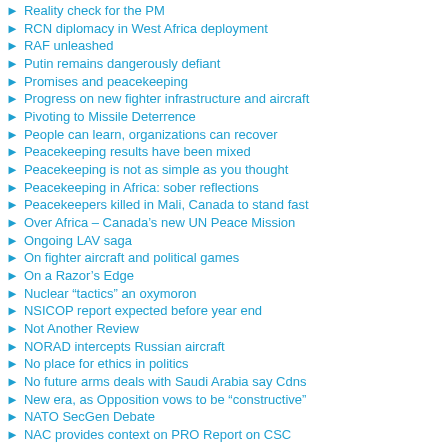Reality check for the PM
RCN diplomacy in West Africa deployment
RAF unleashed
Putin remains dangerously defiant
Promises and peacekeeping
Progress on new fighter infrastructure and aircraft
Pivoting to Missile Deterrence
People can learn, organizations can recover
Peacekeeping results have been mixed
Peacekeeping is not as simple as you thought
Peacekeeping in Africa: sober reflections
Peacekeepers killed in Mali, Canada to stand fast
Over Africa – Canada's new UN Peace Mission
Ongoing LAV saga
On fighter aircraft and political games
On a Razor's Edge
Nuclear "tactics" an oxymoron
NSICOP report expected before year end
Not Another Review
NORAD intercepts Russian aircraft
No place for ethics in politics
No future arms deals with Saudi Arabia say Cdns
New era, as Opposition vows to be "constructive"
NATO SecGen Debate
NAC provides context on PRO Report on CSC